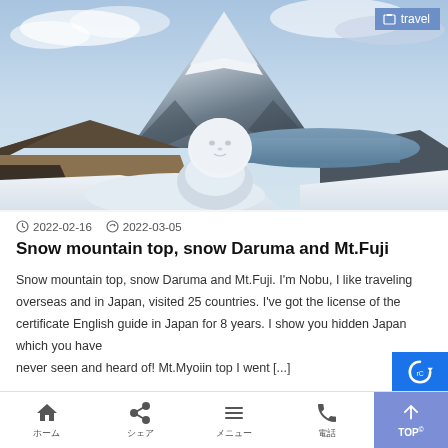[Figure (photo): Photograph of a small snow Daruma (snowball figure) in the foreground with Mt. Fuji and a lake visible in the background under a partly cloudy sky. Snow covers the ground.]
travel
2022-02-16  2022-03-05
Snow mountain top, snow Daruma and Mt.Fuji
Snow mountain top, snow Daruma and Mt.Fuji. I'm Nobu, I like traveling overseas and in Japan, visited 25 countries. I've got the license of the certificate English guide in Japan for 8 years. I show you hidden Japan which you have never seen and heard of! Mt.Myoiin top I went [...]
ホーム  シェア  メニュー  電話  TOPⓅ